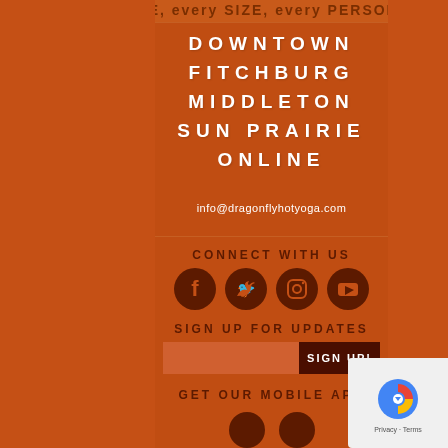every SHAPE, every SIZE, every PERSON
DOWNTOWN
FITCHBURG
MIDDLETON
SUN PRAIRIE
ONLINE
info@dragonflyhotyoga.com
CONNECT WITH US
[Figure (illustration): Four social media icons in dark brown circles: Facebook, Twitter, Instagram, YouTube]
SIGN UP FOR UPDATES
SIGN UP!
GET OUR MOBILE APP
[Figure (logo): reCAPTCHA badge with Privacy and Terms text]